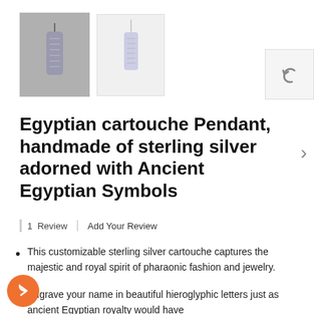[Figure (photo): Two thumbnail images of an Egyptian cartouche pendant necklace. First image has dark grey background showing pendant on cord. Second image has white background showing pendant on chain.]
Egyptian cartouche Pendant, handmade of sterling silver adorned with Ancient Egyptian Symbols
1 Review | Add Your Review
This customizable sterling silver cartouche captures the majestic and royal spirit of pharaonic fashion and jewelry.
Engrave your name in beautiful hieroglyphic letters just as ancient Egyptian royalty would have